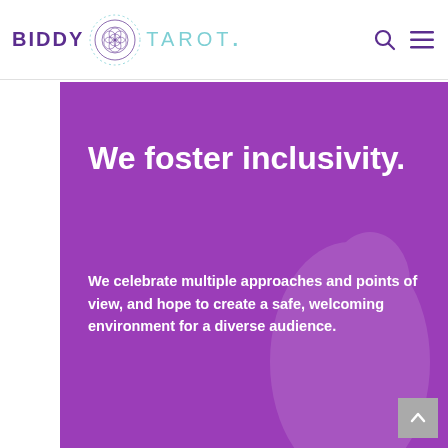BIDDY TAROT.
We foster inclusivity.
We celebrate multiple approaches and points of view, and hope to create a safe, welcoming environment for a diverse audience.